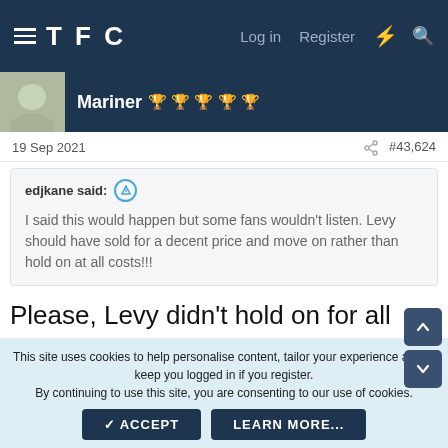TFC — Log in | Register
Mariner 🏆🏆🏆🏆🏆
19 Sep 2021  #43,624
edjkane said: I said this would happen but some fans wouldn't listen. Levy should have sold for a decent price and move on rather than hold on at all costs!!!
Please, Levy didn't hold on for all costs. There was one offer £75m plus add ons. Had we accepted that the pitchforks would be out.
This site uses cookies to help personalise content, tailor your experience and to keep you logged in if you register.
By continuing to use this site, you are consenting to our use of cookies.